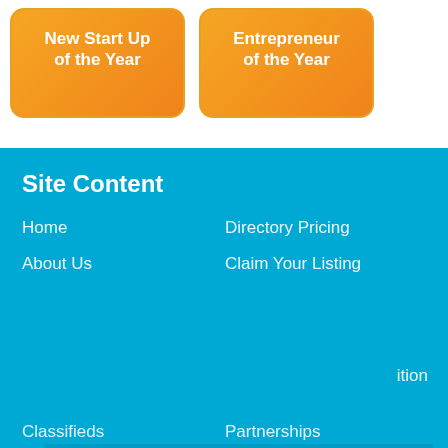[Figure (infographic): Two orange rounded rectangle buttons side by side. Left button: 'New Start Up of the Year'. Right button: 'Entrepreneur of the Year'.]
Site Content
Home
Directory Pricing
About Us
Claim Your Listing
This website uses cookies to ensure you get the best experience on our website.
Learn more
Got it!
Classifieds
Partnerships